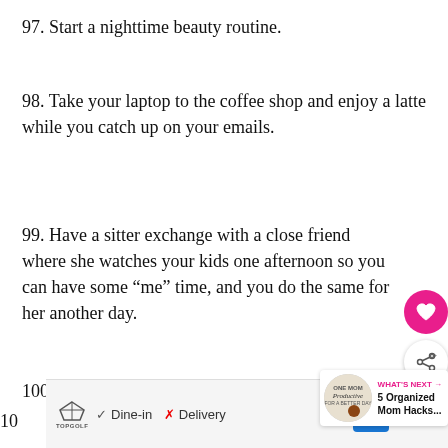97. Start a nighttime beauty routine.
98. Take your laptop to the coffee shop and enjoy a latte while you catch up on your emails.
99. Have a sitter exchange with a close friend where she watches your kids one afternoon so you can have some “me” time, and you do the same for her another day.
100. Listen to an audiobook.